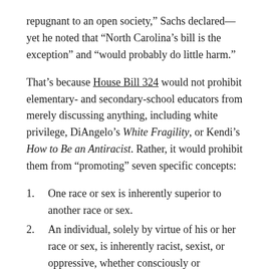repugnant to an open society,” Sachs declared—yet he noted that “North Carolina’s bill is the exception” and “would probably do little harm.”
That’s because House Bill 324 would not prohibit elementary- and secondary-school educators from merely discussing anything, including white privilege, DiAngelo’s White Fragility, or Kendi’s How to Be an Antiracist. Rather, it would prohibit them from “promoting” seven specific concepts:
One race or sex is inherently superior to another race or sex.
An individual, solely by virtue of his or her race or sex, is inherently racist, sexist, or oppressive, whether consciously or